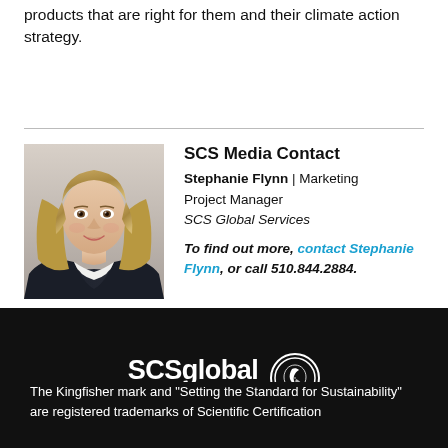products that are right for them and their climate action strategy.
SCS Media Contact
Stephanie Flynn | Marketing Project Manager
SCS Global Services
To find out more, contact Stephanie Flynn, or call 510.844.2884.
[Figure (photo): Headshot photo of Stephanie Flynn, a woman with long blonde hair, wearing a white top and dark jacket, smiling against a neutral background.]
[Figure (logo): SCS Global Services logo in white on black background with Kingfisher bird mark and tagline 'Setting the standard for sustainability']
The Kingfisher mark and "Setting the Standard for Sustainability" are registered trademarks of Scientific Certification